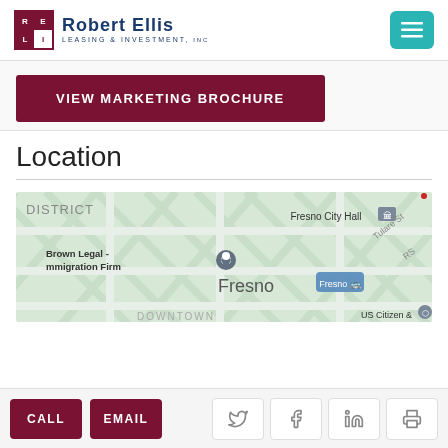[Figure (logo): Robert Ellis Leasing & Investment Inc. logo with red grid icon and blue text]
VIEW MARKETING BROCHURE
Location
[Figure (map): Google Maps view of downtown Fresno showing Fresno City Hall, Brown Legal - Immigration Firm, Fresno transit stop, US Citizen & Immigration Services, with street grid overlay]
CALL  EMAIL
[Figure (other): Social share icons: Twitter, Facebook, LinkedIn, Print]